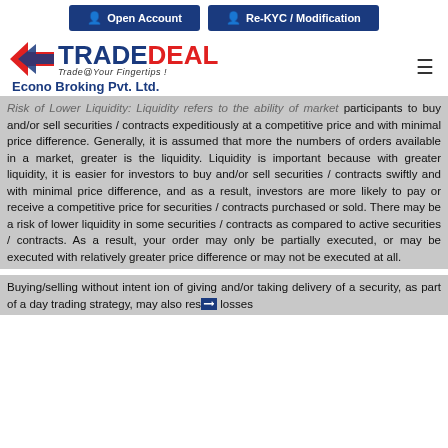Open Account | Re-KYC / Modification
[Figure (logo): TradeDeal logo with arrow icon and tagline 'Trade@Your Fingertips!' with company name Econo Broking Pvt. Ltd.]
Risk of Lower Liquidity: Liquidity refers to the ability of market participants to buy and/or sell securities / contracts expeditiously at a competitive price and with minimal price difference. Generally, it is assumed that more the numbers of orders available in a market, greater is the liquidity. Liquidity is important because with greater liquidity, it is easier for investors to buy and/or sell securities / contracts swiftly and with minimal price difference, and as a result, investors are more likely to pay or receive a competitive price for securities / contracts purchased or sold. There may be a risk of lower liquidity in some securities / contracts as compared to active securities / contracts. As a result, your order may only be partially executed, or may be executed with relatively greater price difference or may not be executed at all.
Buying/selling without intent ion of giving and/or taking delivery of a security, as part of a day trading strategy, may also result in losses